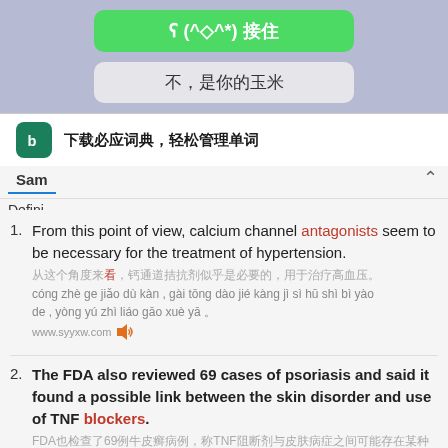[Figure (screenshot): Green button with Chinese text ʕ(^◇^*)接住]
不，是你的玉米
[Figure (logo): Bing dictionary icon]
下载必应词典，轻松管理单词
+ M...
Sam
Defini
+ Mor
From this point of view, calcium channel antagonists seem to be necessary for the treatment of hypertension.
cóng zhè ge jiǎo dù kàn , gài tōng dào jié kàng jì sì hū shì bì yào de , yòng yú zhì liáo gāo xuè yā 。
www.syyxw.com
The FDA also reviewed 69 cases of psoriasis and said it found a possible link between the skin disorder and use of TNF blockers.
FDA也检查了69例牛皮癣病例，称TNF阻断剂与皮肤病症之间可能存在某种联系。
FDA yě jiǎn chá le liù shí jiǔ lì niú pí xuǎn , chèn pí fū bìng zhèng hé TNF jié kàng jì zhī jiān kě néng cún zài mǒu zhǒng de lián xì 。